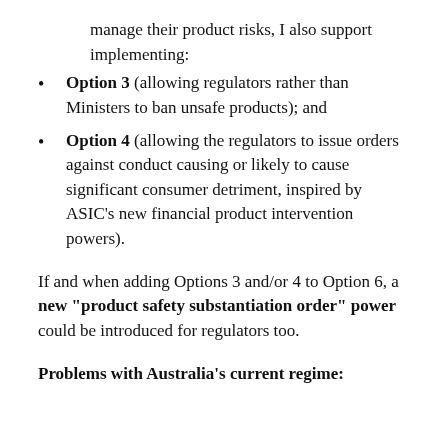manage their product risks, I also support implementing:
Option 3 (allowing regulators rather than Ministers to ban unsafe products); and
Option 4 (allowing the regulators to issue orders against conduct causing or likely to cause significant consumer detriment, inspired by ASIC’s new financial product intervention powers).
If and when adding Options 3 and/or 4 to Option 6, a new “product safety substantiation order” power could be introduced for regulators too.
Problems with Australia’s current regime: